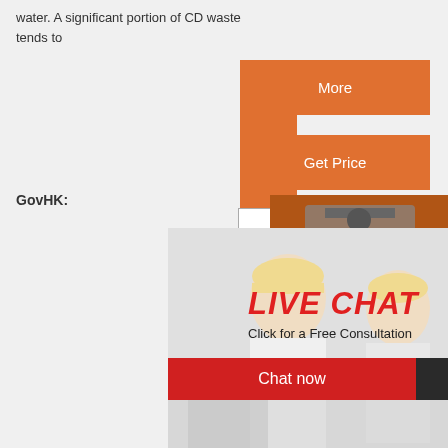water. A significant portion of CD waste tends to
More
Get Price
GovHK:
Email contact
[Figure (photo): Live chat popup overlay on a webpage showing workers in hard hats, with LIVE CHAT text and Chat now / Chat later buttons]
[Figure (photo): Industrial machinery advertisement panel on right side with orange background, showing crushing/mining equipment images, 3% discount offer, enquiry and email contact]
[Figure (photo): Bottom photo of mobile mining/crushing machinery equipment]